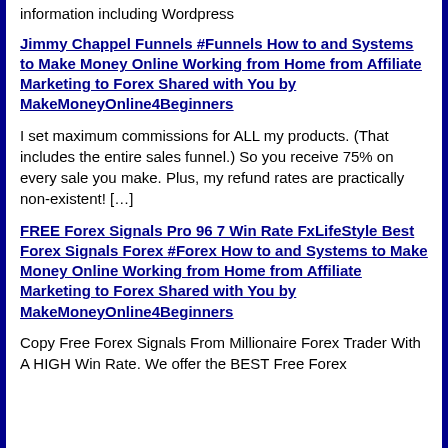information including Wordpress
Jimmy Chappel Funnels #Funnels How to and Systems to Make Money Online Working from Home from Affiliate Marketing to Forex Shared with You by MakeMoneyOnline4Beginners
I set maximum commissions for ALL my products. (That includes the entire sales funnel.) So you receive 75% on every sale you make. Plus, my refund rates are practically non-existent! [&hellip;]
FREE Forex Signals Pro 96 7 Win Rate FxLifeStyle Best Forex Signals Forex #Forex How to and Systems to Make Money Online Working from Home from Affiliate Marketing to Forex Shared with You by MakeMoneyOnline4Beginners
Copy Free Forex Signals From Millionaire Forex Trader With A HIGH Win Rate. We offer the BEST Free Forex